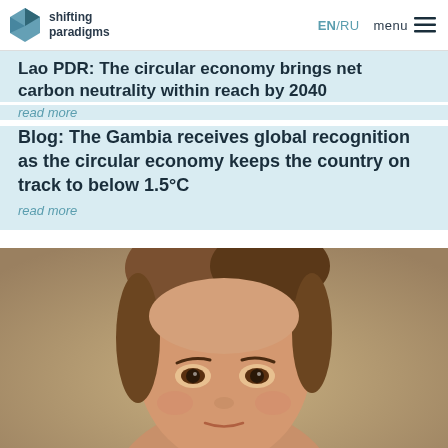shifting paradigms | EN/RU | menu
Lao PDR: The circular economy brings net carbon neutrality within reach by 2040
read more
Blog: The Gambia receives global recognition as the circular economy keeps the country on track to below 1.5°C
read more
[Figure (photo): Close-up portrait photo of a woman with brown hair and brown eyes, warm blurred background]